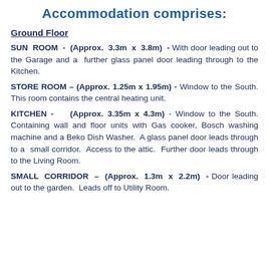Accommodation comprises:
Ground Floor
SUN ROOM - (Approx. 3.3m x 3.8m) - With door leading out to the Garage and a further glass panel door leading through to the Kitchen.
STORE ROOM – (Approx. 1.25m x 1.95m) - Window to the South. This room contains the central heating unit.
KITCHEN - (Approx. 3.35m x 4.3m) - Window to the South. Containing wall and floor units with Gas cooker, Bosch washing machine and a Beko Dish Washer. A glass panel door leads through to a small corridor. Access to the attic. Further door leads through to the Living Room.
SMALL CORRIDOR – (Approx. 1.3m x 2.2m) - Door leading out to the garden. Leads off to Utility Room.